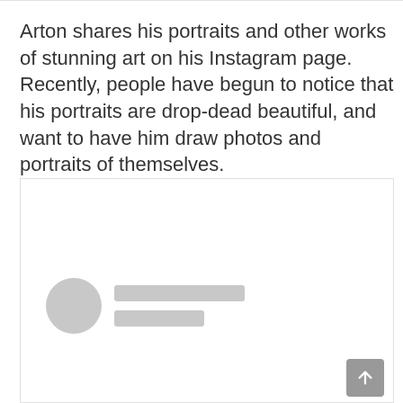Arton shares his portraits and other works of stunning art on his Instagram page. Recently, people have begun to notice that his portraits are drop-dead beautiful, and want to have him draw photos and portraits of themselves.
[Figure (screenshot): A social media post preview card with a circular grey avatar placeholder on the left and two grey rounded rectangle lines (placeholder text bars) to the right, on a white background with a light grey border.]